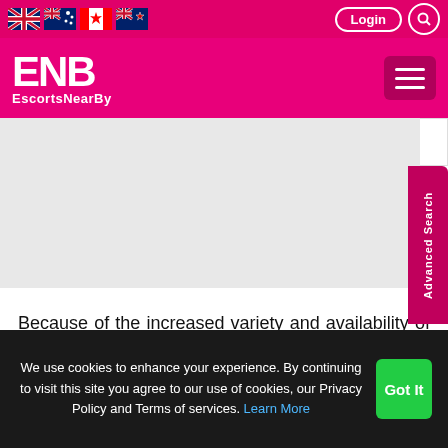EscortsNearBy — ENB
» European Escorts
Because of the increased variety and availability of beautiful and appealing escorts, ENB is thriving in the escort sector. UK Escort Girls listed in our collection provide a wide range of services based on the needs and wishes of their clients. Clients who possess
We use cookies to enhance your experience. By continuing to visit this site you agree to our use of cookies, our Privacy Policy and Terms of services. Learn More